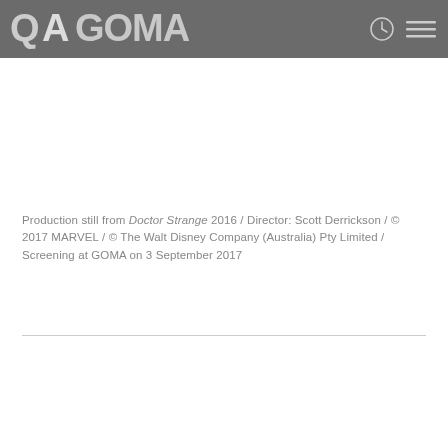QAGOMA
Production still from Doctor Strange 2016 / Director: Scott Derrickson / © 2017 MARVEL / © The Walt Disney Company (Australia) Pty Limited / Screening at GOMA on 3 September 2017